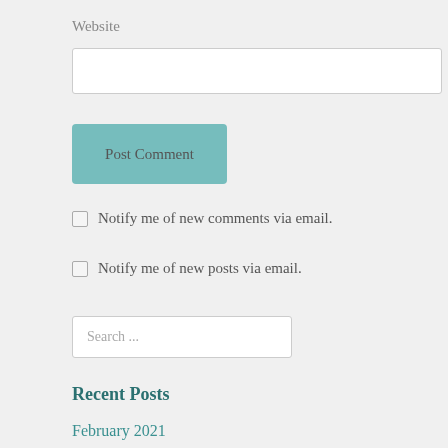Website
[Figure (other): Empty text input field for Website URL]
[Figure (other): Post Comment button, teal/light blue background]
Notify me of new comments via email.
Notify me of new posts via email.
[Figure (other): Search input field with placeholder text 'Search ...']
Recent Posts
February 2021